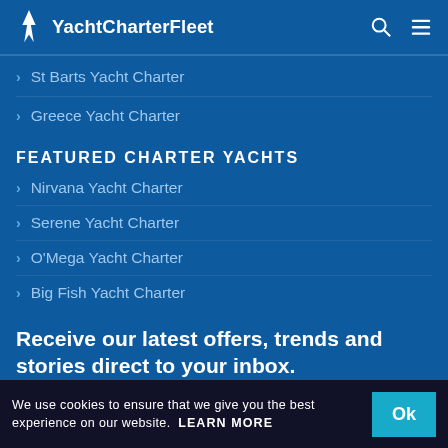YachtCharterFleet
St Barts Yacht Charter
Greece Yacht Charter
FEATURED CHARTER YACHTS
Nirvana Yacht Charter
Serene Yacht Charter
O'Mega Yacht Charter
Big Fish Yacht Charter
Receive our latest offers, trends and stories direct to your inbox.
We use cookies to ensure that we give you the best experience on our website. LEARN MORE  Ok